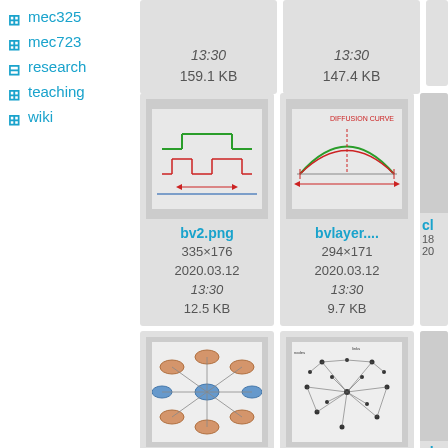+ mec325
+ mec723
- research
+ teaching
+ wiki
[Figure (other): Partial file card showing 13:30, 159.1 KB]
[Figure (other): Partial file card showing 13:30, 147.4 KB]
[Figure (engineering-diagram): bv2.png - timing diagram with red and green lines, 335×176, 2020.03.12 13:30, 12.5 KB]
[Figure (engineering-diagram): bvlayer.... - curve diagram with red and green arcs, 294×171, 2020.03.12 13:30, 9.7 KB]
[Figure (network-graph): clddialy... - network diagram with orange and blue nodes, 802×558, 2020.03.12 13:30]
[Figure (network-graph): cldsusta... - complex network diagram black/white, 709×597, 2020.03.12 13:30]
[Figure (other): cld... partial card]